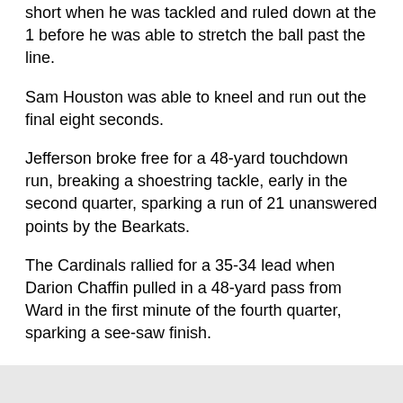short when he was tackled and ruled down at the 1 before he was able to stretch the ball past the line.
Sam Houston was able to kneel and run out the final eight seconds.
Jefferson broke free for a 48-yard touchdown run, breaking a shoestring tackle, early in the second quarter, sparking a run of 21 unanswered points by the Bearkats.
The Cardinals rallied for a 35-34 lead when Darion Chaffin pulled in a 48-yard pass from Ward in the first minute of the fourth quarter, sparking a see-saw finish.
Sam Houston, facing a fourth-and-goal was awarded a penalty first down when UIW jumped offsides and Jefferson plowed through on the next snap. The Bearkats went for the 2-point conversion and Noah Smith seeing UIW waiting for him on the right side, reversed field and just made the pylon on the left front edge of the end zone to make it a seven-point lead, 42-35 with 8:13 to play.